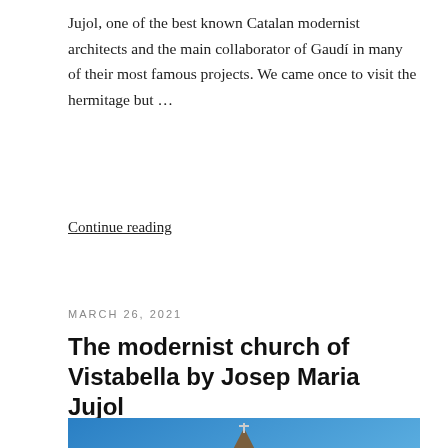Jujol, one of the best known Catalan modernist architects and the main collaborator of Gaudí in many of their most famous projects. We came once to visit the hermitage but ...
Continue reading
MARCH 26, 2021
The modernist church of Vistabella by Josep Maria Jujol
[Figure (photo): Photo of the modernist church of Vistabella, showing a Gothic-style stone bell tower with a cross on top against a blue sky background]